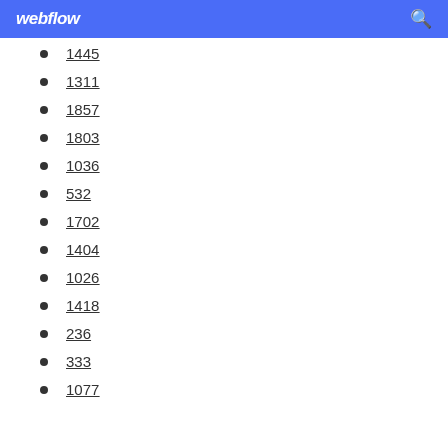webflow
1445
1311
1857
1803
1036
532
1702
1404
1026
1418
236
333
1077